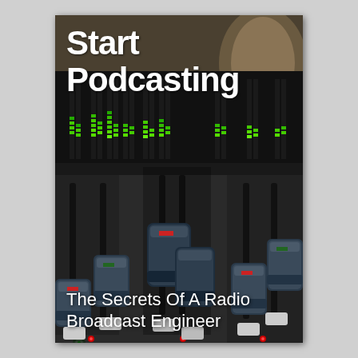[Figure (photo): Book cover showing a close-up photo of a professional audio mixing console/soundboard with green LED level meters visible in the background and large fader knobs in the foreground. The image is dark and moody with teal, dark blue, and dark tones.]
Start Podcasting
The Secrets Of A Radio Broadcast Engineer